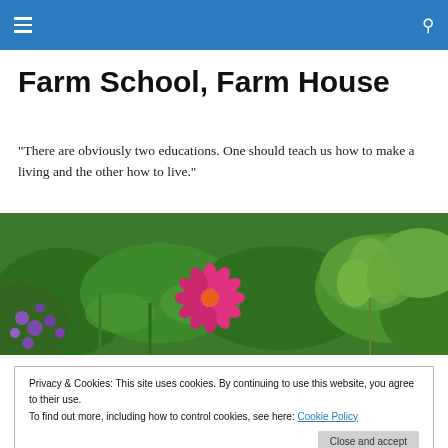Farm School, Farm House — navigation header
Farm School, Farm House
"There are obviously two educations. One should teach us how to make a living and the other how to live."
[Figure (photo): Garden photo showing green leafy plants with purple flowers on the left and a bright pink zinnia flower in the center, with herb-like plants on the right.]
Privacy & Cookies: This site uses cookies. By continuing to use this website, you agree to their use.
To find out more, including how to control cookies, see here: Cookie Policy
Part